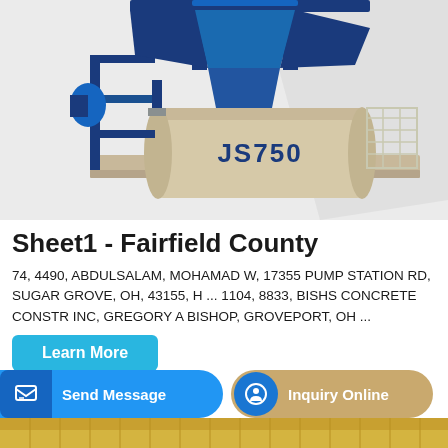[Figure (photo): JS750 concrete mixer machine with blue metal frame and cream-colored drum, elevated hopper on top, motor on left side, and safety cage on right side.]
Sheet1 - Fairfield County
74, 4490, ABDULSALAM, MOHAMAD W, 17355 PUMP STATION RD, SUGAR GROVE, OH, 43155, H ... 1104, 8833, BISHS CONCRETE CONSTR INC, GREGORY A BISHOP, GROVEPORT, OH ...
Learn More
Send Message
Inquiry Online